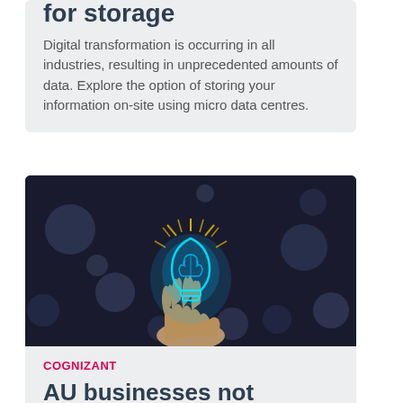for storage
Digital transformation is occurring in all industries, resulting in unprecedented amounts of data. Explore the option of storing your information on-site using micro data centres.
[Figure (photo): Hand holding a glowing blue brain lightbulb against a dark bokeh background]
COGNIZANT
AU businesses not realising value from tech